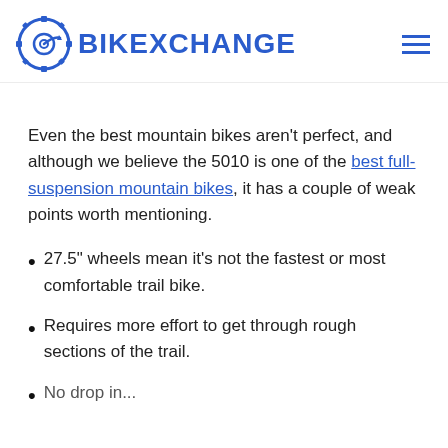BIKEXCHANGE
Even the best mountain bikes aren't perfect, and although we believe the 5010 is one of the best full-suspension mountain bikes, it has a couple of weak points worth mentioning.
27.5" wheels mean it's not the fastest or most comfortable trail bike.
Requires more effort to get through rough sections of the trail.
No drop in...